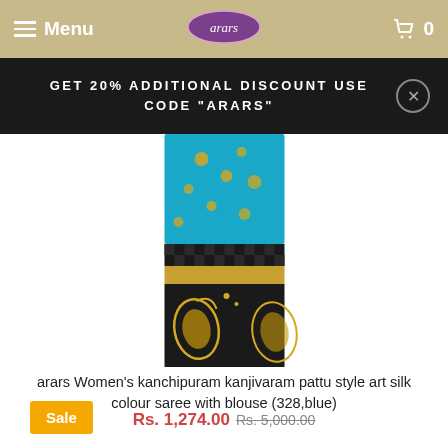Menu | arars logo | 0
GET 20% ADDITIONAL DISCOUNT USE CODE "ARARS"
[Figure (photo): A folded kanchipuram kanjivaram pattu style art silk saree in turquoise/blue colour with gold paisley border pattern on dark background]
arars Women's kanchipuram kanjivaram pattu style art silk colour saree with blouse (328,blue)
Rs. 1,274.00 Rs. 5,000.00
Sale